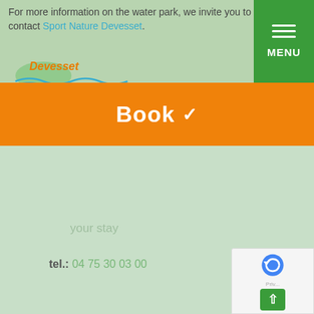For more information on the water park, we invite you to contact Sport Nature Devesset.
[Figure (logo): Devesset logo with waves graphic]
[Figure (other): Green menu button with three horizontal lines and MENU label]
Book ∨
your stay
tel.: 04 75 30 03 00
At the lake
Free
[Figure (other): reCAPTCHA privacy widget and back-to-top green button]